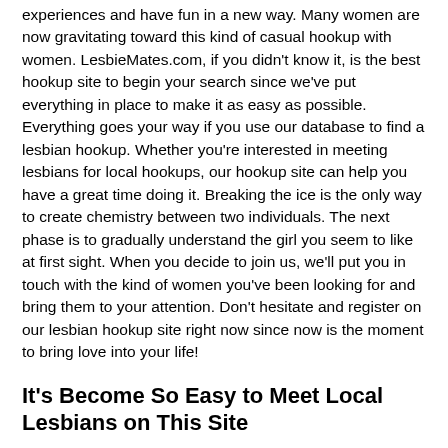experiences and have fun in a new way. Many women are now gravitating toward this kind of casual hookup with women. LesbieMates.com, if you didn't know it, is the best hookup site to begin your search since we've put everything in place to make it as easy as possible. Everything goes your way if you use our database to find a lesbian hookup. Whether you're interested in meeting lesbians for local hookups, our hookup site can help you have a great time doing it. Breaking the ice is the only way to create chemistry between two individuals. The next phase is to gradually understand the girl you seem to like at first sight. When you decide to join us, we'll put you in touch with the kind of women you've been looking for and bring them to your attention. Don't hesitate and register on our lesbian hookup site right now since now is the moment to bring love into your life!
It's Become So Easy to Meet Local Lesbians on This Site
Being in a relationship with another woman is something you'll certainly want to experience. If that is the case, our hookup site will come to your rescue. We've been helping women discover lesbian hookups for years, and we've always